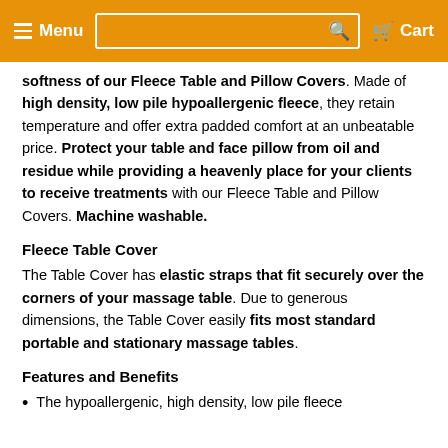Menu | [Search] | Cart
softness of our Fleece Table and Pillow Covers. Made of high density, low pile hypoallergenic fleece, they retain temperature and offer extra padded comfort at an unbeatable price. Protect your table and face pillow from oil and residue while providing a heavenly place for your clients to receive treatments with our Fleece Table and Pillow Covers. Machine washable.
Fleece Table Cover
The Table Cover has elastic straps that fit securely over the corners of your massage table. Due to generous dimensions, the Table Cover easily fits most standard portable and stationary massage tables.
Features and Benefits
The hypoallergenic, high density, low pile fleece